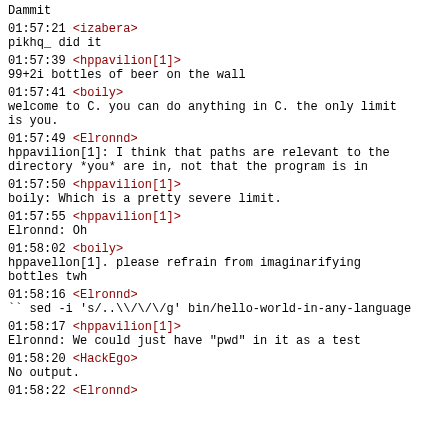Dammit
01:57:21 <izabera>
pikhq_ did it
01:57:39 <hppavilion[1]>
99+2i bottles of beer on the wall
01:57:41 <boily>
welcome to C. you can do anything in C. the only limit is you.
01:57:49 <Elronnd>
hppavilion[1]: I think that paths are relevant to the directory *you* are in, not that the program is in
01:57:50 <hppavilion[1]>
boily: Which is a pretty severe limit.
01:57:55 <hppavilion[1]>
Elronnd: Oh
01:58:02 <boily>
hppavellon[1]. please refrain from imaginarifying bottles twh
01:58:16 <Elronnd>
`` sed -i 's/..\///g' bin/hello-world-in-any-language
01:58:17 <hppavilion[1]>
Elronnd: We could just have "pwd" in it as a test
01:58:20 <HackEgo>
No output.
01:58:22 <Elronnd>